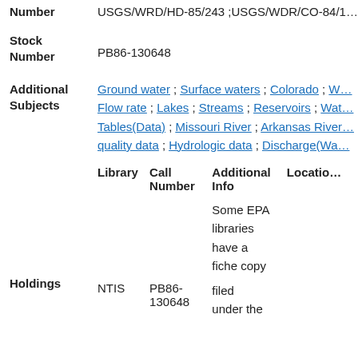USGS/WRD/HD-85/243 ;USGS/WDR/CO-84/1…
Number
Stock Number
PB86-130648
Additional Subjects
Ground water ; Surface waters ; Colorado ; W… Flow rate ; Lakes ; Streams ; Reservoirs ; Wat… Tables(Data) ; Missouri River ; Arkansas River… quality data ; Hydrologic data ; Discharge(Wa…
| Library | Call Number | Additional Info | Location |
| --- | --- | --- | --- |
|  |  | Some EPA libraries have a fiche copy filed under the |  |
| NTIS | PB86-130648 | filed under the |  |
Holdings